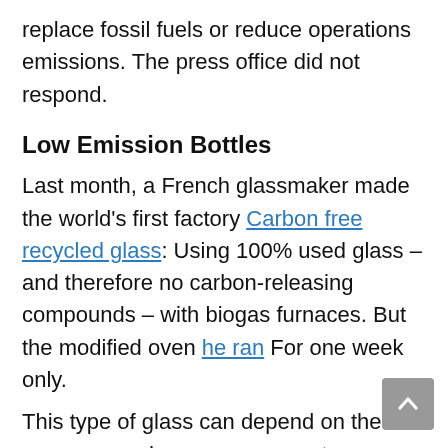replace fossil fuels or reduce operations emissions. The press office did not respond.
Low Emission Bottles
Last month, a French glassmaker made the world's first factory Carbon free recycled glass: Using 100% used glass – and therefore no carbon-releasing compounds – with biogas furnaces. But the modified oven he ran For one week only.
This type of glass can depend on the company and consumer acceptance: Bottles with higher recycled content may own Slight tint.
Here, the government plans to pay people to